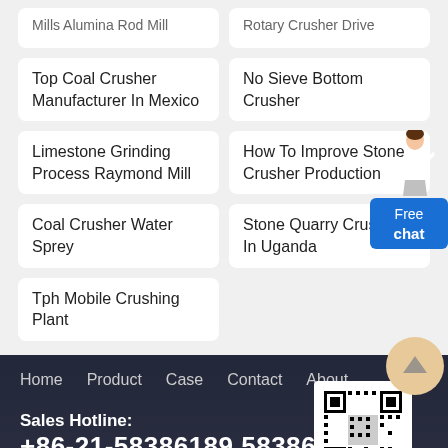Mills Alumina Rod Mill
Rotary Crusher Drive
Top Coal Crusher Manufacturer In Mexico
No Sieve Bottom Crusher
Limestone Grinding Process Raymond Mill
How To Improve Stone Crusher Production
Coal Crusher Water Sprey
Stone Quarry Crusher In Uganda
Tph Mobile Crushing Plant
Home   Product   Case   Contact
About
Sales Hotline:
+86-21-58386189,58386176